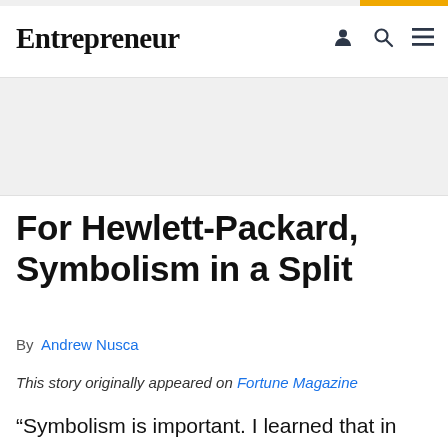Entrepreneur
For Hewlett-Packard, Symbolism in a Split
By Andrew Nusca
This story originally appeared on Fortune Magazine
“Symbolism is important. I learned that in